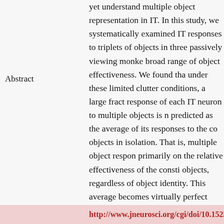Abstract
yet understand multiple object representation in IT. In this study, we systematically examined IT responses to pairs and triplets of objects in three passively viewing monkeys, using a broad range of object effectiveness. We found that, under these limited clutter conditions, a large fraction of the response of each IT neuron to multiple objects is naturally predicted as the average of its responses to the constituent objects in isolation. That is, multiple object responses depend primarily on the relative effectiveness of the constituent objects, regardless of object identity. This average effect becomes virtually perfect when populations of IT neurons are pooled. Furthermore, the average effect cannot simply be explained by attentional shifts but behaves as a primarily feedforward response property. Together, our observations are most consistent with mechanistic models in which neuronal outputs are normalized by summed synaptic input into IT or spiking activity within IT and suggest that normalization mechanisms previously revealed at earlier visual areas are operating throughout the ventral visual stream.
http://www.jneurosci.org/cgi/doi/10.1523/JNEU...